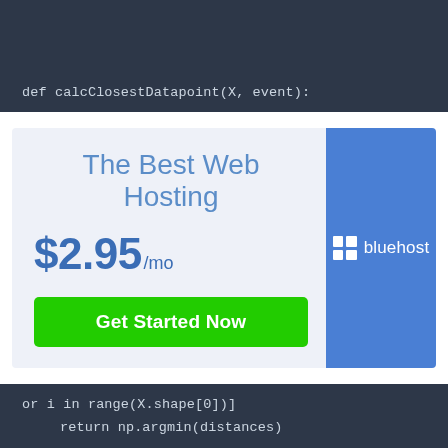def calcClosestDatapoint(X, event):
[Figure (screenshot): Bluehost web hosting advertisement banner showing 'The Best Web Hosting' for $2.95/mo with a 'Get Started Now' button and the Bluehost logo on a blue panel.]
or i in range(X.shape[0])]
        return np.argmin(distances)